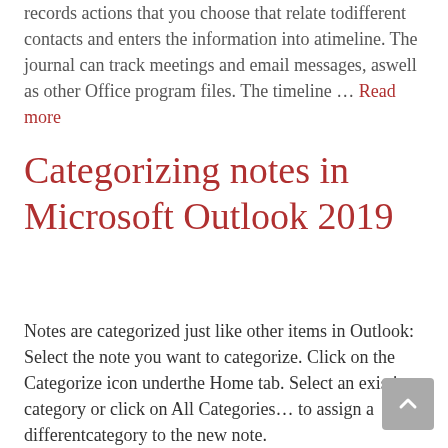records actions that you choose that relate todifferent contacts and enters the information into atimeline. The journal can track meetings and email messages, aswell as other Office program files. The timeline … Read more
Categorizing notes in Microsoft Outlook 2019
Notes are categorized just like other items in Outlook: Select the note you want to categorize. Click on the Categorize icon underthe Home tab. Select an existing category or click on All Categories… to assign a differentcategory to the new note.